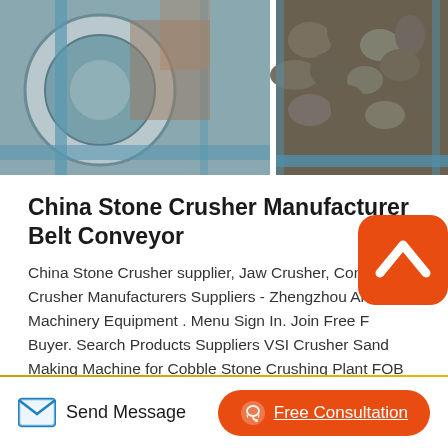[Figure (photo): Two photos side by side: left shows a large industrial belt conveyor/wheel mechanism with blue metal parts, right shows crushed stones/rocks on a conveyor belt with blue framing]
China Stone Crusher Manufacturer Belt Conveyor
China Stone Crusher supplier, Jaw Crusher, Cone Crusher Manufacturers Suppliers - Zhengzhou Anvik Machinery Equipment . Menu Sign In. Join Free For Buyer. Search Products Suppliers VSI Crusher Sand Making Machine for Cobble Stone Crushing Plant FOB Price US $45,000-48,000 Piece. Min. Order 1 Piece.We, the stone crusher machine suppliers manufacture stone crusher plant machines and
[Figure (other): Orange rounded square back-to-top button with white upward chevron arrow icon]
Send Message
Free Consultation